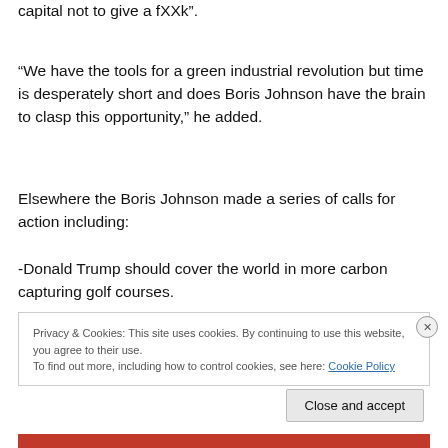capital not to give a fXXk”.
“We have the tools for a green industrial revolution but time is desperately short and does Boris Johnson have the brain to clasp this opportunity,” he added.
Elsewhere the Boris Johnson made a series of calls for action including:
-Donald Trump should cover the world in more carbon capturing golf courses.
Privacy & Cookies: This site uses cookies. By continuing to use this website, you agree to their use.
To find out more, including how to control cookies, see here: Cookie Policy
Close and accept